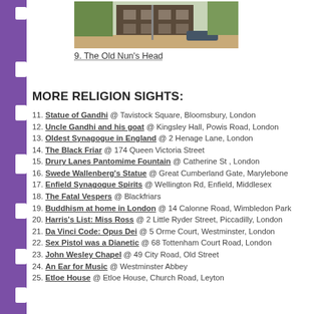[Figure (photo): Photo of a building exterior - The Old Nun's Head]
9. The Old Nun's Head
MORE RELIGION SIGHTS:
11. Statue of Gandhi @ Tavistock Square, Bloomsbury, London
12. Uncle Gandhi and his goat @ Kingsley Hall, Powis Road, London
13. Oldest Synagogue in England @ 2 Henage Lane, London
14. The Black Friar @ 174 Queen Victoria Street
15. Drury Lanes Pantomime Fountain @ Catherine St , London
16. Swede Wallenberg's Statue @ Great Cumberland Gate, Marylebone
17. Enfield Synagogue Spirits @ Wellington Rd, Enfield, Middlesex
18. The Fatal Vespers @ Blackfriars
19. Buddhism at home in London @ 14 Calonne Road, Wimbledon Park
20. Harris's List: Miss Ross @ 2 Little Ryder Street, Piccadilly, London
21. Da Vinci Code: Opus Dei @ 5 Orme Court, Westminster, London
22. Sex Pistol was a Dianetic @ 68 Tottenham Court Road, London
23. John Wesley Chapel @ 49 City Road, Old Street
24. An Ear for Music @ Westminster Abbey
25. Etloe House @ Etloe House, Church Road, Leyton